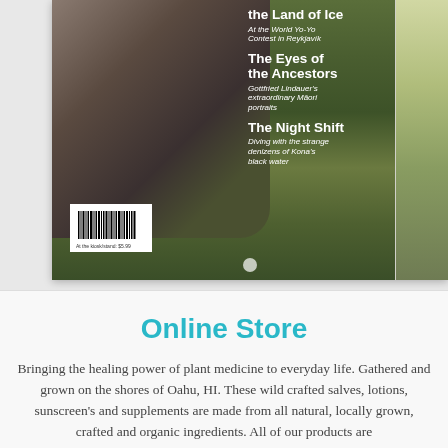[Figure (photo): Magazine cover showing a person among tropical green plants with white text headlines: 'the Land of Ice - At the World Yo-Yo Contest in Reykjavik', 'The Eyes of the Ancestors - Gottfried Lindauer's extraordinary Māori portraits', 'The Night Shift - Diving with the strange denizens of Kona's black water'. Barcode visible in bottom-left. A partial second magazine cover is visible at the right edge.]
Online Store
Bringing the healing power of plant medicine to everyday life. Gathered and grown on the shores of Oahu, HI. These wild crafted salves, lotions, sunscreen's and supplements are made from all natural, locally grown, crafted and organic ingredients. All of our products are